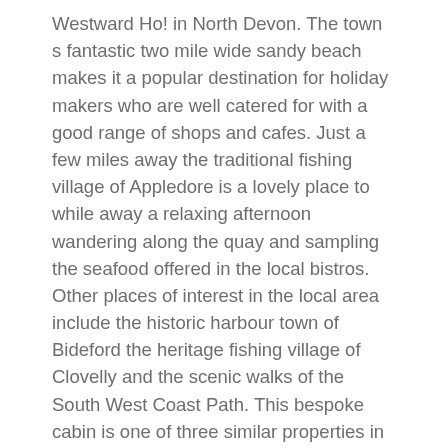Westward Ho! in North Devon. The town s fantastic two mile wide sandy beach makes it a popular destination for holiday makers who are well catered for with a good range of shops and cafes. Just a few miles away the traditional fishing village of Appledore is a lovely place to while away a relaxing afternoon wandering along the quay and sampling the seafood offered in the local bistros. Other places of interest in the local area include the historic harbour town of Bideford the heritage fishing village of Clovelly and the scenic walks of the South West Coast Path. This bespoke cabin is one of three similar properties in the grounds of a popular gastropub. The main living area is a stylish open-plan space comprising of an understated lounge/kitchen/diner with an inviting sofa Smart TV and a warming wood burner which keeps the cabin lovely and cosy in all weathers. The dining table which enjoys a lovely position in front of the bi-fold doors comfortably seats four whilst the kitchen area is equipped with an electric oven and hob microwave dishwasher and fridge with ice compartment. There are two bedrooms in